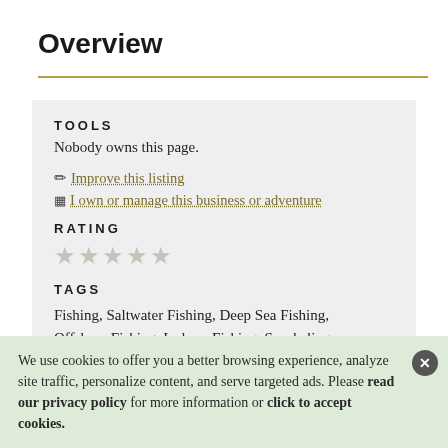Overview
TOOLS
Nobody owns this page.
✏ Improve this listing
▦ I own or manage this business or adventure
RATING
★★★★★ (empty stars)
TAGS
Fishing, Saltwater Fishing, Deep Sea Fishing, Offshore Fishing, Inshore Fishing, Snorkeling
We use cookies to offer you a better browsing experience, analyze site traffic, personalize content, and serve targeted ads. Please read our privacy policy for more information or click to accept cookies.